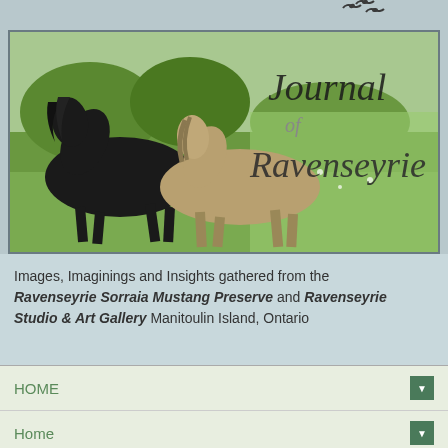[Figure (photo): Banner image showing two horses (one black, one grey/dun) galloping through a green meadow with trees in background. Overlaid text reads 'Journal of Ravenseyrie' in italic serif font.]
Images, Imaginings and Insights gathered from the Ravenseyrie Sorraia Mustang Preserve and Ravenseyrie Studio & Art Gallery Manitoulin Island, Ontario
HOME
Home
Saturday, October 15, 2011